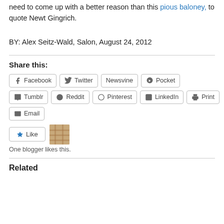need to come up with a better reason than this pious baloney, to quote Newt Gingrich.
BY: Alex Seitz-Wald, Salon, August 24, 2012
Share this:
Facebook  Twitter  Newsvine  Pocket  Tumblr  Reddit  Pinterest  LinkedIn  Print  Email
One blogger likes this.
Related